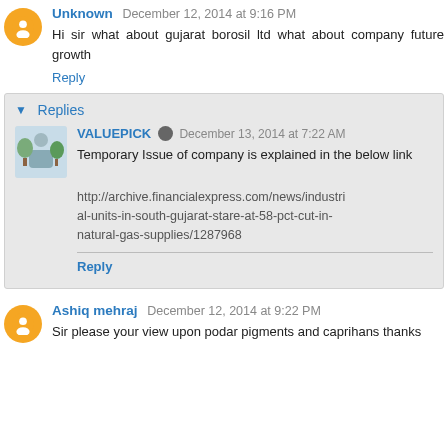Unknown December 12, 2014 at 9:16 PM
Hi sir what about gujarat borosil ltd what about company future growth
Reply
Replies
VALUEPICK December 13, 2014 at 7:22 AM
Temporary Issue of company is explained in the below link
http://archive.financialexpress.com/news/industrial-units-in-south-gujarat-stare-at-58-pct-cut-in-natural-gas-supplies/1287968
Reply
Ashiq mehraj December 12, 2014 at 9:22 PM
Sir please your view upon podar pigments and caprihans thanks